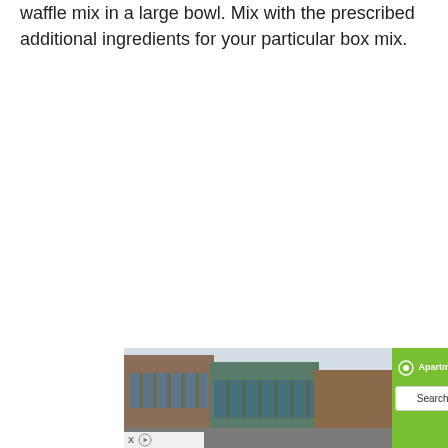waffle mix in a large bowl. Mix with the prescribed additional ingredients for your particular box mix.
[Figure (photo): Advertisement banner for Apartments.com showing a urban street scene with brick and glass buildings, a Search Now button on a green background, and X/play controls at the bottom left.]